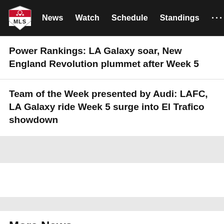MLS — News | Watch | Schedule | Standings | ...
Power Rankings: LA Galaxy soar, New England Revolution plummet after Week 5
Team of the Week presented by Audi: LAFC, LA Galaxy ride Week 5 surge into El Trafico showdown
More News
MLS Insider: Tom Bogert